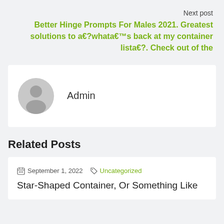Next post
Better Hinge Prompts For Males 2021. Greatest solutions to a€?whata€™s back at my container lista€?. Check out of the
Admin
Related Posts
September 1, 2022  Uncategorized
Star-Shaped Container, Or Something Like